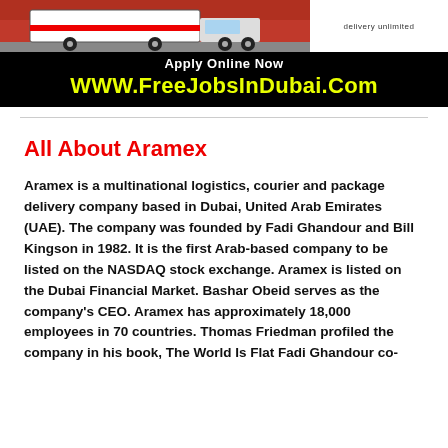[Figure (photo): Banner showing a red truck on left side and delivery unlimited logo on right side, with black banner below showing 'Apply Online Now' and 'WWW.FreeJobsInDubai.Com' in yellow text]
All About Aramex
Aramex is a multinational logistics, courier and package delivery company based in Dubai, United Arab Emirates (UAE). The company was founded by Fadi Ghandour and Bill Kingson in 1982. It is the first Arab-based company to be listed on the NASDAQ stock exchange. Aramex is listed on the Dubai Financial Market. Bashar Obeid serves as the company's CEO. Aramex has approximately 18,000 employees in 70 countries. Thomas Friedman profiled the company in his book, The World Is Flat Fadi Ghandour co-